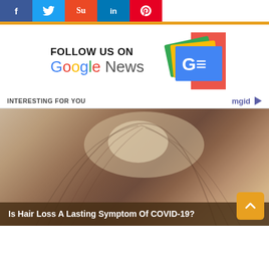[Figure (other): Social media share buttons: Facebook (blue), Twitter (light blue), StumbleUpon (red-orange), LinkedIn (blue), Pinterest (red)]
[Figure (other): Follow us on Google News promotional banner with Google News logo icon]
INTERESTING FOR YOU
[Figure (photo): Close-up photo of a person's scalp showing hair thinning/hair loss, viewed from above. Background is beige/tan.]
Is Hair Loss A Lasting Symptom Of COVID-19?